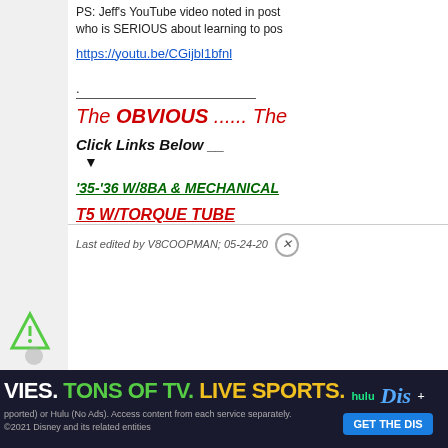PS: Jeff's YouTube video noted in post who is SERIOUS about learning to pos
https://youtu.be/CGijbl1bfnl
.
The OBVIOUS ...... The
Click Links Below __
▼
'35-'36 W/8BA & MECHANICAL
T5 W/TORQUE TUBE
Last edited by V8COOPMAN; 05-24-20
[Figure (other): Hulu Disney+ advertisement banner with logos and GET THE DIS button]